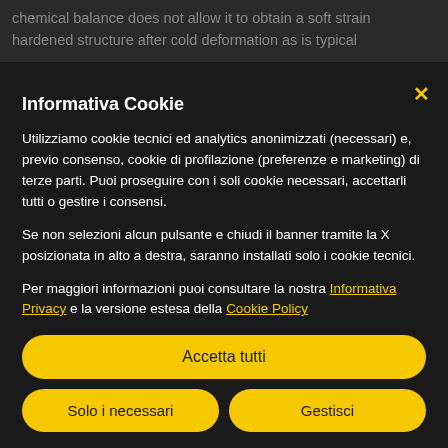chemical balance does not allow it to obtain a soft strain hardened structure after cold deformation as is typical
Informativa Cookie
Utilizziamo cookie tecnici ed analytics anonimizzati (necessari) e, previo consenso, cookie di profilazione (preferenze e marketing) di terze parti. Puoi proseguire con i soli cookie necessari, accettarli tutti o gestire i consensi.
Se non selezioni alcun pulsante e chiudi il banner tramite la X posizionata in alto a destra, saranno installati solo i cookie tecnici.
Per maggiori informazioni puoi consultare la nostra Informativa Privacy e la versione estesa della Cookie Policy
Accetta tutti
Solo i necessari
Gestisci